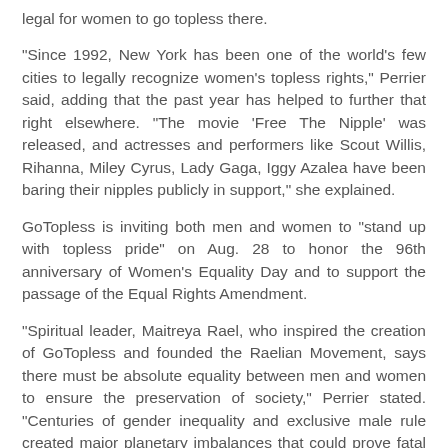legal for women to go topless there.
“Since 1992, New York has been one of the world’s few cities to legally recognize women’s topless rights,” Perrier said, adding that the past year has helped to further that right elsewhere. “The movie ‘Free The Nipple’ was released, and actresses and performers like Scout Willis, Rihanna, Miley Cyrus, Lady Gaga, Iggy Azalea have been baring their nipples publicly in support,” she explained.
GoTopless is inviting both men and women to “stand up with topless pride” on Aug. 28 to honor the 96th anniversary of Women’s Equality Day and to support the passage of the Equal Rights Amendment.
“Spiritual leader, Maitreya Rael, who inspired the creation of GoTopless and founded the Raelian Movement, says there must be absolute equality between men and women to ensure the preservation of society,” Perrier stated. “Centuries of gender inequality and exclusive male rule created major planetary imbalances that could prove fatal to society. It’s time for change!”